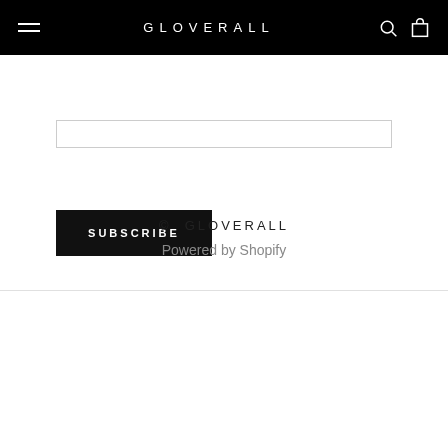GLOVERALL
[Figure (screenshot): Email subscribe input field (empty)]
SUBSCRIBE
© GLOVERALL
Powered by Shopify
[Figure (infographic): Payment method icons: American Express, Apple Pay, Diners Club, Discover, Google Pay, Maestro, Mastercard, PayPal, Visa]